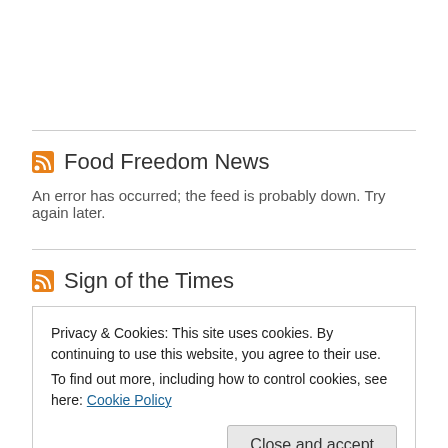Food Freedom News
An error has occurred; the feed is probably down. Try again later.
Sign of the Times
Privacy & Cookies: This site uses cookies. By continuing to use this website, you agree to their use.
To find out more, including how to control cookies, see here: Cookie Policy
California district curriculum claims there's 10 sexual orientations